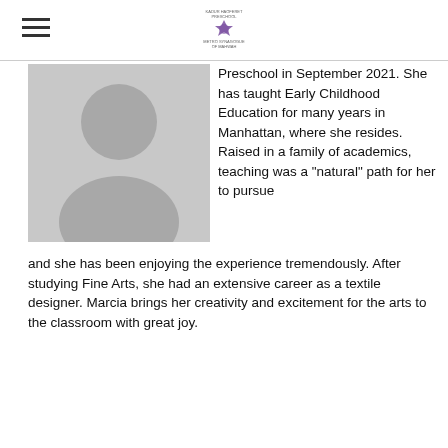Kadur Haoferet Preschool / Metro Synagogue of Mahwah
[Figure (photo): Generic grey silhouette placeholder profile photo of a person]
Preschool in September 2021. She has taught Early Childhood Education for many years in Manhattan, where she resides. Raised in a family of academics, teaching was a "natural" path for her to pursue and she has been enjoying the experience tremendously. After studying Fine Arts, she had an extensive career as a textile designer. Marcia brings her creativity and excitement for the arts to the classroom with great joy.